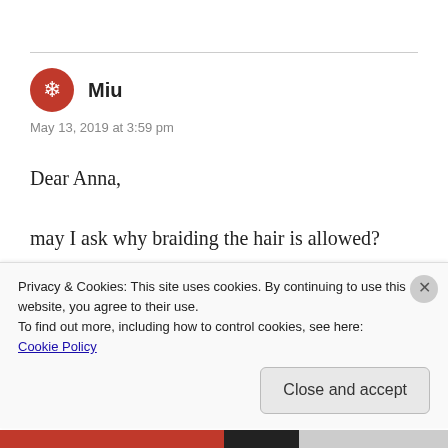Miu
May 13, 2019 at 3:59 pm
Dear Anna,

may I ask why braiding the hair is allowed?
Liked by 1 person
Privacy & Cookies: This site uses cookies. By continuing to use this website, you agree to their use.
To find out more, including how to control cookies, see here:
Cookie Policy
Close and accept